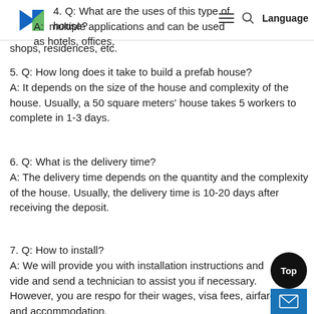4. Q: What are the uses of this type of house? A: [logo] multiple applications and can be used as hotels, offices, shops, residences, etc.
5. Q: How long does it take to build a prefab house?
A: It depends on the size of the house and complexity of the house. Usually, a 50 square meters' house takes 5 workers to complete in 1-3 days.
6. Q: What is the delivery time?
A: The delivery time depends on the quantity and the complexity of the house. Usually, the delivery time is 10-20 days after receiving the deposit.
7. Q: How to install?
A: We will provide you with installation instructions and video and send a technician to assist you if necessary. However, you are responsible for their wages, visa fees, airfare and accommodation.